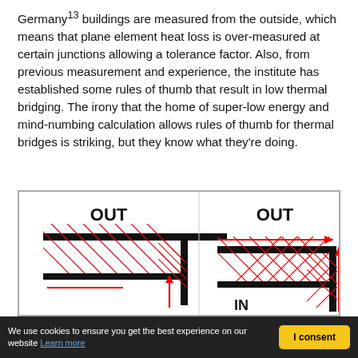Germany¹³ buildings are measured from the outside, which means that plane element heat loss is over-measured at certain junctions allowing a tolerance factor. Also, from previous measurement and experience, the institute has established some rules of thumb that result in low thermal bridging. The irony that the home of super-low energy and mind-numbing calculation allows rules of thumb for thermal bridges is striking, but they know what they're doing.
[Figure (engineering-diagram): Two side-by-side architectural cross-section diagrams showing thermal bridging at wall/floor junctions. Left diagram labelled OUT at top with red hatching indicating heat loss area and a red upward arrow. Right diagram labelled OUT at top and IN at bottom with a red horizontal arrow pointing right and a red upward arrow, with double red cross-hatching indicating greater heat loss area.]
We use cookies to ensure you get the best experience on our website Learn more